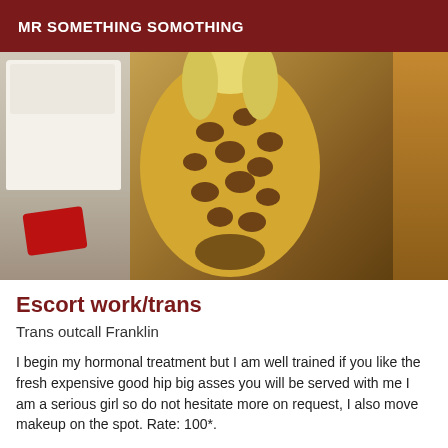MR SOMETHING SOMOTHING
[Figure (photo): A person wearing a leopard print dress standing in a hotel room with white bed linens and a red cloth on the bed, viewed from behind.]
Escort work/trans
Trans outcall Franklin
I begin my hormonal treatment but I am well trained if you like the fresh expensive good hip big asses you will be served with me I am a serious girl so do not hesitate more on request, I also move makeup on the spot. Rate: 100*.